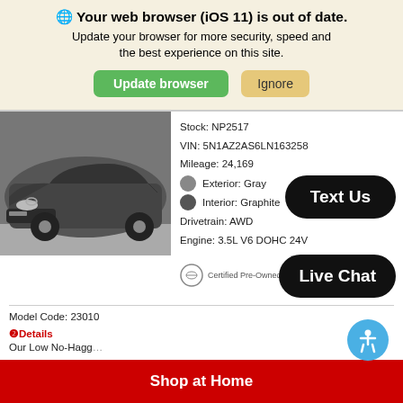🌐 Your web browser (iOS 11) is out of date.
Update your browser for more security, speed and the best experience on this site.
[Figure (screenshot): Green 'Update browser' button and tan 'Ignore' button]
[Figure (photo): Front view of a dark gray Nissan SUV (Murano)]
Stock: NP2517
VIN: 5N1AZ2AS6LN163258
Mileage: 24,169
Exterior: Gray
Interior: Graphite
Drivetrain: AWD
Engine: 3.5L V6 DOHC 24V
[Figure (logo): Nissan Certified Pre-Owned badge and CARFAX SHOW ME THE CARFAX 1 OWNER badge]
[Figure (screenshot): Black rounded 'Text Us' button overlay]
Model Code: 23010
❷Details
Our Low No-Hagg...
[Figure (screenshot): Black rounded 'Live Chat' button overlay]
[Figure (infographic): Blue accessibility icon circle]
Shop at Home